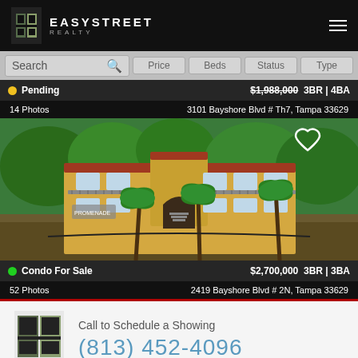EasyStreet Realty
Search | Price | Beds | Status | Type
Pending $1,988,000 3BR | 4BA
14 Photos   3101 Bayshore Blvd # Th7, Tampa 33629
[Figure (photo): Aerial view of a yellow Spanish-style condo building surrounded by palm trees and lush greenery, with balconies and arched entryway]
Condo For Sale $2,700,000 3BR | 3BA
52 Photos   2419 Bayshore Blvd # 2N, Tampa 33629
Call to Schedule a Showing
(813) 452-4096